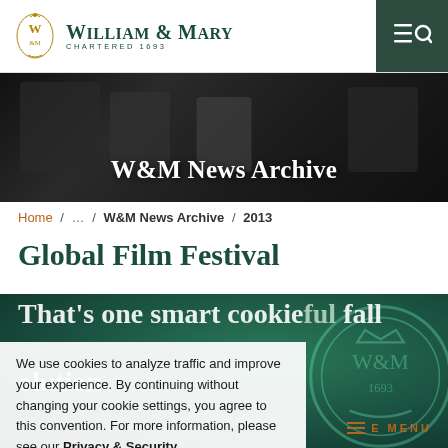[Figure (logo): William & Mary university logo with crest, name, and 'Chartered 1693' subtitle]
[Figure (photo): Dark photo of people filming or interviewing someone in a formal setting, used as hero banner background]
W&M News Archive
Home / ... / W&M News Archive / 2013
Global Film Festival
That's one smart cookie ful fall
We use cookies to analyze traffic and improve your experience. By continuing without changing your cookie settings, you agree to this convention. For more information, please see our Privacy & Security Statement
E MENU